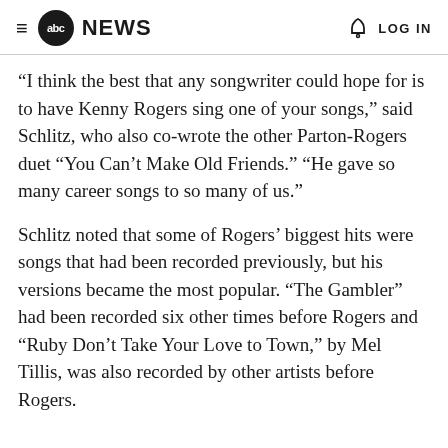≡ abcNEWS  🔔  LOG IN
“I think the best that any songwriter could hope for is to have Kenny Rogers sing one of your songs,” said Schlitz, who also co-wrote the other Parton-Rogers duet “You Can’t Make Old Friends.” “He gave so many career songs to so many of us.”
Schlitz noted that some of Rogers’ biggest hits were songs that had been recorded previously, but his versions became the most popular. “The Gambler” had been recorded six other times before Rogers and “Ruby Don’t Take Your Love to Town,” by Mel Tillis, was also recorded by other artists before Rogers.